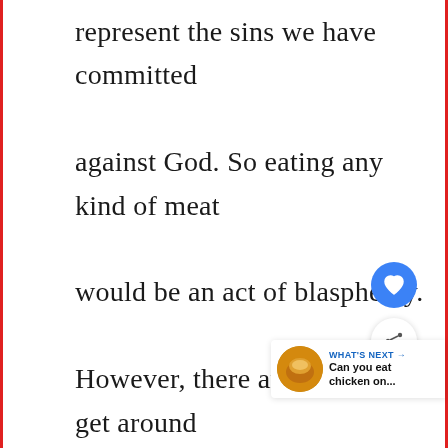represent the sins we have committed against God. So eating any kind of meat would be an act of blasphemy. However, there are ways to get around this. If you wear gloves when handling the ashes, you won't get them o...
[Figure (screenshot): Heart/like button (blue circle with heart icon) and share button (white circle with share icon), floating UI overlays]
[Figure (screenshot): WHAT'S NEXT panel with thumbnail image of food and text 'Can you eat chicken on...']